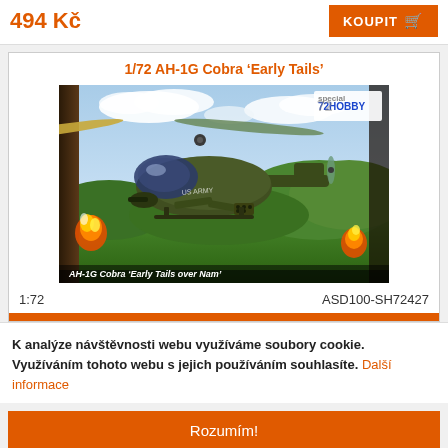494 Kč
KOUPIT
1/72 AH-1G Cobra 'Early Tails'
[Figure (illustration): Product box art showing AH-1G Cobra helicopter in olive drab flying over Vietnam jungle terrain with explosions and 'Special Hobby 72' logo]
1:72
ASD100-SH72427
K analýze návštěvnosti webu využíváme soubory cookie. Využíváním tohoto webu s jejich používáním souhlasíte. Další informace
Rozumím!